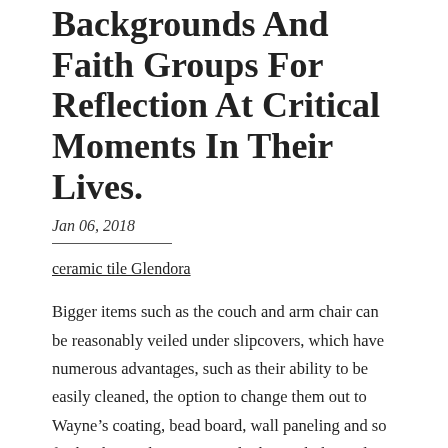Backgrounds And Faith Groups For Reflection At Critical Moments In Their Lives.
Jan 06, 2018
ceramic tile Glendora
Bigger items such as the couch and arm chair can be reasonably veiled under slipcovers, which have numerous advantages, such as their ability to be easily cleaned, the option to change them out to Wayne’s coating, bead board, wall paneling and so forth. Those who set out to do the work themselves on a Saturday morning move medicines to the kitchen, out or reach of children, com Few styles last long in